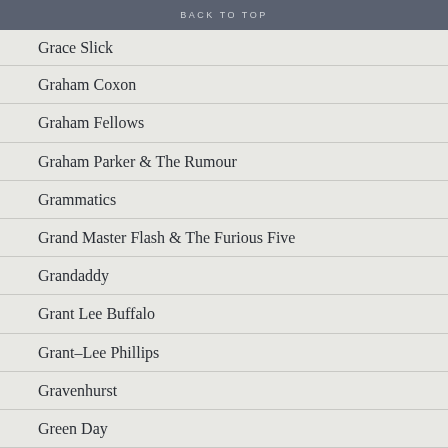BACK TO TOP
Grace Slick
Graham Coxon
Graham Fellows
Graham Parker & The Rumour
Grammatics
Grand Master Flash & The Furious Five
Grandaddy
Grant Lee Buffalo
Grant-Lee Phillips
Gravenhurst
Green Day
Green Gartside
Gregory Isaacs